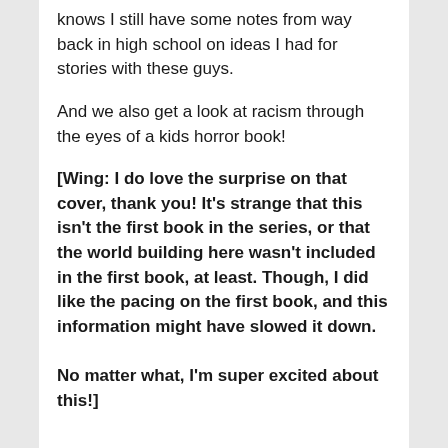knows I still have some notes from way back in high school on ideas I had for stories with these guys.
And we also get a look at racism through the eyes of a kids horror book!
[Wing: I do love the surprise on that cover, thank you! It's strange that this isn't the first book in the series, or that the world building here wasn't included in the first book, at least. Though, I did like the pacing on the first book, and this information might have slowed it down.

No matter what, I'm super excited about this!]